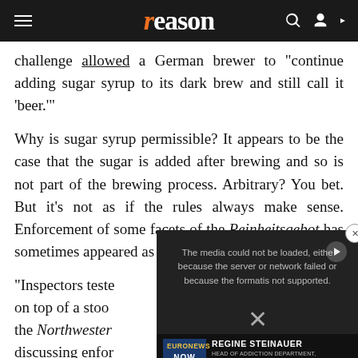reason
challenge allowed a German brewer to "continue adding sugar syrup to its dark brew and still call it 'beer.'"
Why is sugar syrup permissible? It appears to be the case that the sugar is added after brewing and so is not part of the brewing process. Arbitrary? You bet. But it's not as if the rules always make sense. Enforcement of some facets of the Reinheitsgebot has sometimes appeared as arbitrary as the law itself.
"Inspectors teste on top of a stoo the Northwestern discussing enfor quality of the be the beer caused the stool."
[Figure (screenshot): Embedded video player overlay showing error message: 'The media could not be loaded, either because the server or network failed or because the format is not supported.' With Euronews NOW branding and presenter REGINE STEINAUER, HEAD OF ADDICTION DEPARTMENT, UNIVERSITY OF BASEL.]